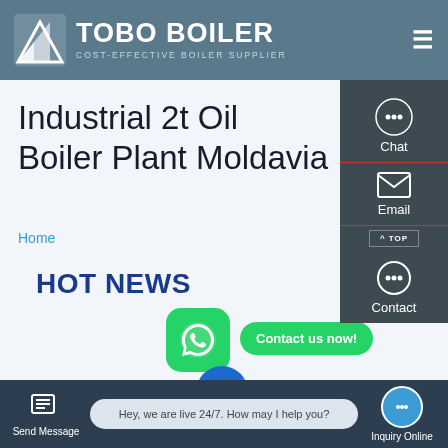TOBO BOILER — COST-EFFECTIVE BOILER SUPPLIER
Industrial 2t Oil Boiler Plant Moldavia
Home
HOT NEWS
Contact us now!
1t Oil Boiler Brand Commercial Estonia
Hey, we are live 24/7. How may I help you?
Send Message | Inquiry Online